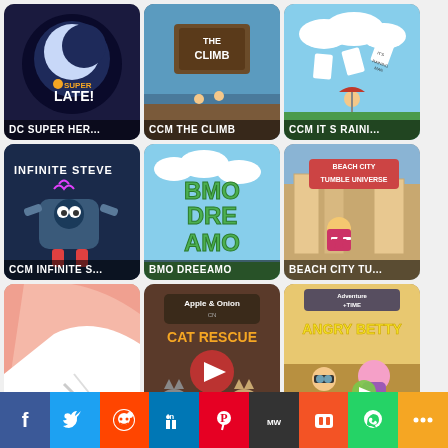[Figure (screenshot): Grid of cartoon game thumbnails: DC SUPER HER..., CCM THE CLIMB, CCM IT S RAINI..., CCM INFINITE S..., BMO DREEAMO, BEACH CITY TU..., BEACH CITY DRI..., ANO CAT RESCUE, ANGRY BETTY, and three more partially visible]
Facebook, Twitter, Reddit, LinkedIn, Pinterest, MW, Mix, WhatsApp, More social share buttons